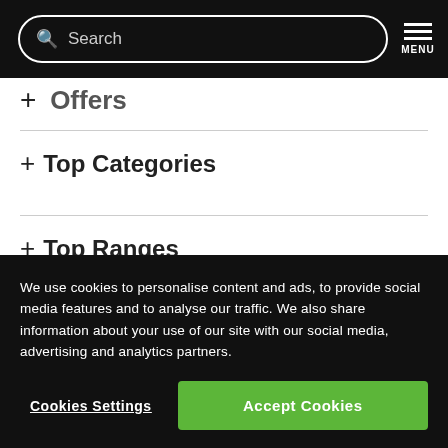Search | MENU
+ Offers
+ Top Categories
+ Top Ranges
We use cookies to personalise content and ads, to provide social media features and to analyse our traffic. We also share information about your use of our site with our social media, advertising and analytics partners.
Cookies Settings | Accept Cookies